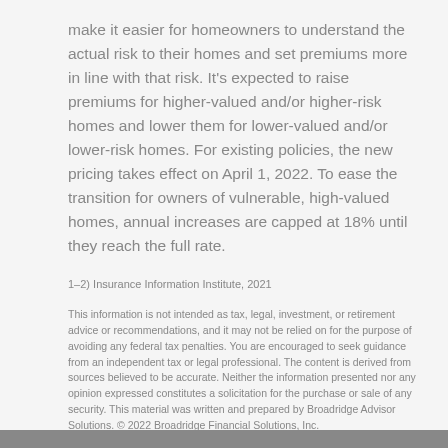make it easier for homeowners to understand the actual risk to their homes and set premiums more in line with that risk. It's expected to raise premiums for higher-valued and/or higher-risk homes and lower them for lower-valued and/or lower-risk homes. For existing policies, the new pricing takes effect on April 1, 2022. To ease the transition for owners of vulnerable, high-valued homes, annual increases are capped at 18% until they reach the full rate.
1–2) Insurance Information Institute, 2021
This information is not intended as tax, legal, investment, or retirement advice or recommendations, and it may not be relied on for the purpose of avoiding any federal tax penalties. You are encouraged to seek guidance from an independent tax or legal professional. The content is derived from sources believed to be accurate. Neither the information presented nor any opinion expressed constitutes a solicitation for the purchase or sale of any security. This material was written and prepared by Broadridge Advisor Solutions. © 2022 Broadridge Financial Solutions, Inc.